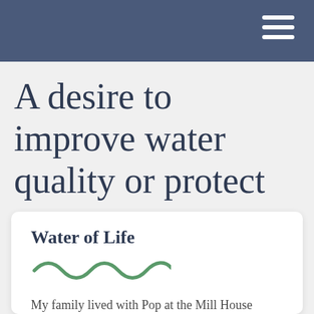A desire to improve water quality or protect nature
Water of Life
[Figure (illustration): Decorative wave/water squiggle divider in green]
My family lived with Pop at the Mill House which was dwarfed by the mill on the gable end facing our kitchen. We had a beautiful garden, but to the side was an untamed wilderness full of